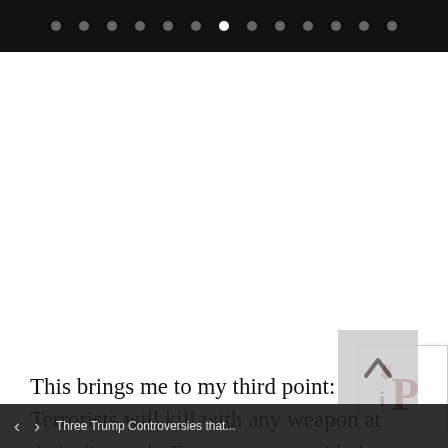Navigation dots carousel header bar
[Figure (logo): iP logo — letter i with flame icon in dark/red, bold capital P in dark red, on white background with border]
[Figure (other): Scroll-to-top button (upward chevron/arrow on grey background)]
This brings me to my third point:  Terrorists will kill with any weapon at their disposal.  Box cutters provided access to the cockpits of jet planes that brought down the Twin
< > Three Trump Controversies that...